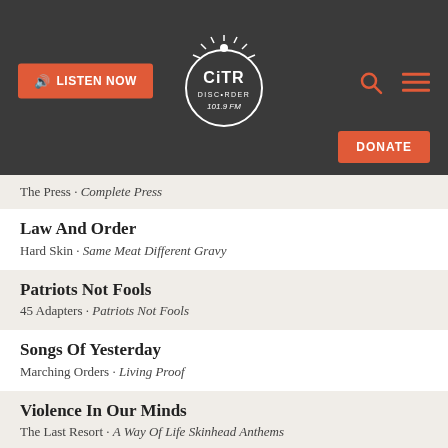CiTR Discorder 101.9 FM — LISTEN NOW | DONATE
The Press · Complete Press
Law And Order
Hard Skin · Same Meat Different Gravy
Patriots Not Fools
45 Adapters · Patriots Not Fools
Songs Of Yesterday
Marching Orders · Living Proof
Violence In Our Minds
The Last Resort · A Way Of Life Skinhead Anthems